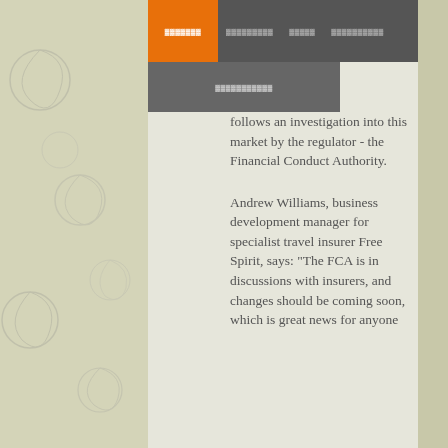▓▓▓▓▓▓▓   ▓▓▓▓▓▓▓▓▓   ▓▓▓▓▓   ▓▓▓▓▓▓▓▓▓▓
▓▓▓▓▓▓▓▓▓▓▓
follows an investigation into this market by the regulator - the Financial Conduct Authority.
Andrew Williams, business development manager for specialist travel insurer Free Spirit, says: "The FCA is in discussions with insurers, and changes should be coming soon, which is great news for anyone